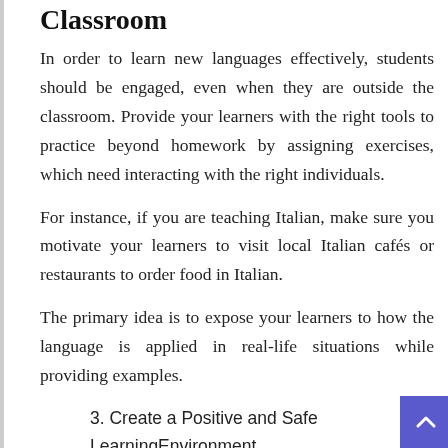Classroom
In order to learn new languages effectively, students should be engaged, even when they are outside the classroom. Provide your learners with the right tools to practice beyond homework by assigning exercises, which need interacting with the right individuals.
For instance, if you are teaching Italian, make sure you motivate your learners to visit local Italian cafés or restaurants to order food in Italian.
The primary idea is to expose your learners to how the language is applied in real-life situations while providing examples.
3. Create a Positive and Safe LearningEnvironment
Making mistakes and having a chance to learn from them is the key to learning a new language. The way you structure your online language courses and how you give feedback impact the sense of security of your students.